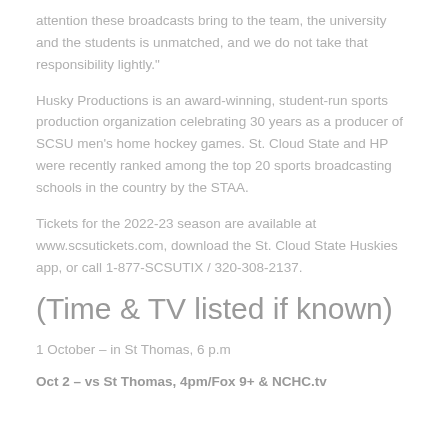attention these broadcasts bring to the team, the university and the students is unmatched, and we do not take that responsibility lightly."
Husky Productions is an award-winning, student-run sports production organization celebrating 30 years as a producer of SCSU men's home hockey games. St. Cloud State and HP were recently ranked among the top 20 sports broadcasting schools in the country by the STAA.
Tickets for the 2022-23 season are available at www.scsutickets.com, download the St. Cloud State Huskies app, or call 1-877-SCSUTIX / 320-308-2137.
(Time & TV listed if known)
1 October – in St Thomas, 6 p.m
Oct 2 – vs St Thomas, 4pm/Fox 9+ & NCHC.tv